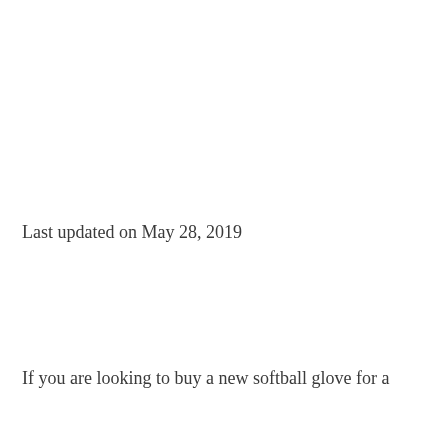Last updated on May 28, 2019
If you are looking to buy a new softball glove for a